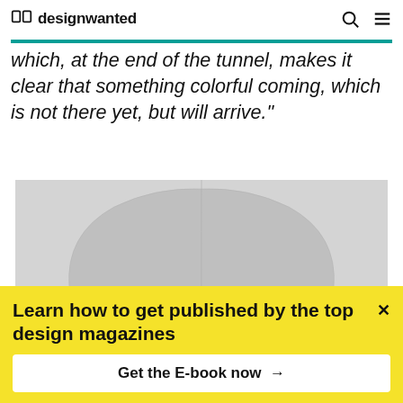designwanted
which, at the end of the tunnel, makes it clear that something colorful coming, which is not there yet, but will arrive."
[Figure (photo): Close-up photograph of a white/light grey chair back, minimalist design with organic rounded shape, split view showing back of chair seat]
Learn how to get published by the top design magazines
Get the E-book now →